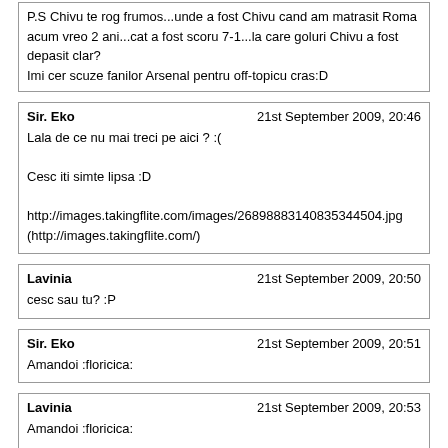P.S Chivu te rog frumos...unde a fost Chivu cand am matrasit Roma acum vreo 2 ani...cat a fost scoru 7-1...la care goluri Chivu a fost depasit clar?
Imi cer scuze fanilor Arsenal pentru off-topicu cras:D
Sir. Eko | 21st September 2009, 20:46
Lala de ce nu mai treci pe aici ? :(

Cesc iti simte lipsa :D

http://images.takingflite.com/images/26898883140835344504.jpg (http://images.takingflite.com/)
Lavinia | 21st September 2009, 20:50
cesc sau tu? :P
Sir. Eko | 21st September 2009, 20:51
Amandoi :floricica:
Lavinia | 21st September 2009, 20:53
Amandoi :floricica:

stii..puteai s suni daca asa dor ti-era..:P:happy
Sir. Eko | 21st September 2009, 20:57
Cumpara si tu o cartela cu numar de ORANGE si sun non stop :happy

Nu esti invidoasa pe fata din avatarul meu ? =))